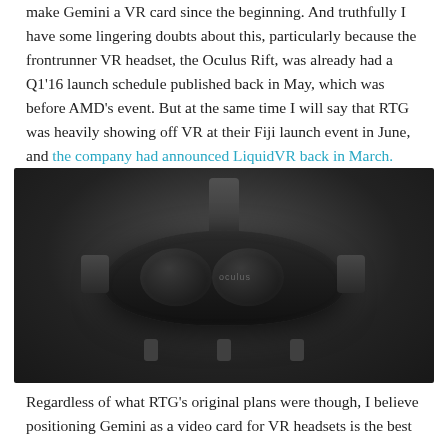make Gemini a VR card since the beginning. And truthfully I have some lingering doubts about this, particularly because the frontrunner VR headset, the Oculus Rift, was already had a Q1'16 launch schedule published back in May, which was before AMD's event. But at the same time I will say that RTG was heavily showing off VR at their Fiji launch event in June, and the company had announced LiquidVR back in March.
[Figure (photo): Photo of an Oculus Rift VR headset against a dark gradient background. The headset is shown front-on, with dual eye lenses, side brackets, top head strap, and bottom feet visible. The Oculus logo is visible on the front.]
Regardless of what RTG's original plans were though, I believe positioning Gemini as a video card for VR headsets is the best